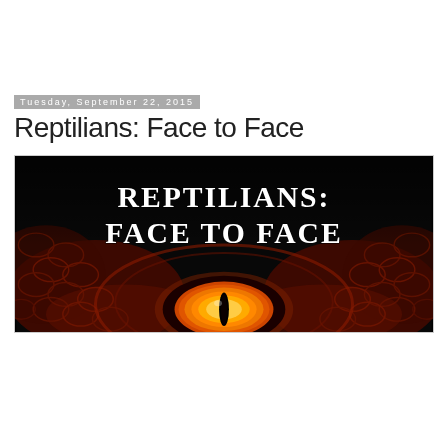Tuesday, September 22, 2015
Reptilians: Face to Face
[Figure (illustration): Dark movie/book title card with the text 'REPTILIANS: FACE TO FACE' in jagged white horror-style font over a black background featuring a close-up of a reptilian eye with orange and red iris, surrounded by dark scaly texture.]